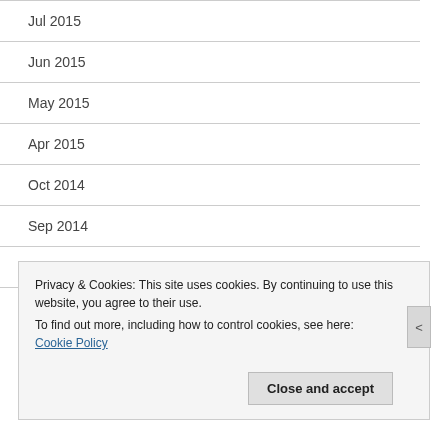Jul 2015
Jun 2015
May 2015
Apr 2015
Oct 2014
Sep 2014
Jul 2014
Privacy & Cookies: This site uses cookies. By continuing to use this website, you agree to their use. To find out more, including how to control cookies, see here: Cookie Policy
Close and accept